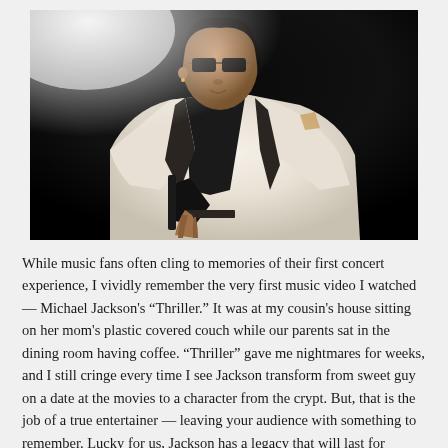[Figure (photo): Black and white / color photograph of Michael Jackson wearing a white suit jacket with a dark shirt underneath, posed looking at the camera. The background is dark/black. This is the Thriller album cover image.]
While music fans often cling to memories of their first concert experience, I vividly remember the very first music video I watched — Michael Jackson's “Thriller.” It was at my cousin's house sitting on her mom's plastic covered couch while our parents sat in the dining room having coffee. “Thriller” gave me nightmares for weeks, and I still cringe every time I see Jackson transform from sweet guy on a date at the movies to a character from the crypt. But, that is the job of a true entertainer — leaving your audience with something to remember. Lucky for us, Jackson has a legacy that will last for